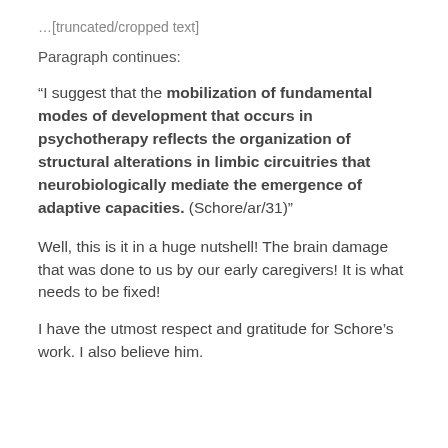Paragraph continues:
“I suggest that the mobilization of fundamental modes of development that occurs in psychotherapy reflects the organization of structural alterations in limbic circuitries that neurobiologically mediate the emergence of adaptive capacities. (Schore/ar/31)”
Well, this is it in a huge nutshell!  The brain damage that was done to us by our early caregivers!  It is what needs to be fixed!
I have the utmost respect and gratitude for Schore’s work.  I also believe him.